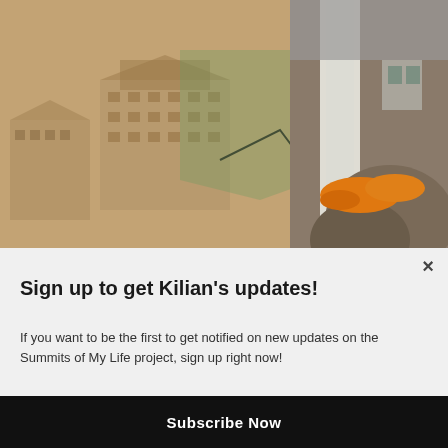[Figure (photo): Composite image: left side shows a sepia-toned historical architectural illustration of Nepalese buildings; right side shows earthquake damage with rubble and orange marigold flowers on a collapsed building.]
×
Sign up to get Kilian's updates!
If you want to be the first to get notified on new updates on the Summits of My Life project, sign up right now!
Enter your Email
Subscribe Now